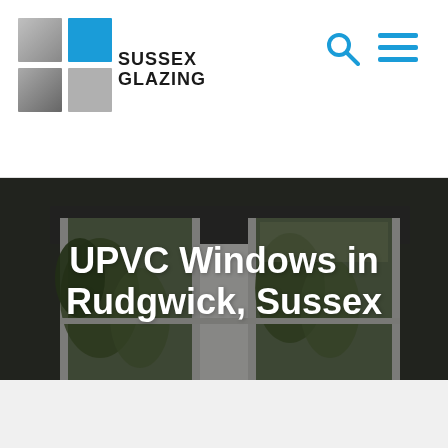[Figure (logo): Sussex Glazing logo with colored squares grid and company name text]
[Figure (other): Search icon (magnifying glass) and hamburger menu icon in blue]
[Figure (photo): Interior room photo showing white UPVC windows with dark pelmet box, plants and furniture, dimmed overlay]
UPVC Windows in Rudgwick, Sussex
Home >> Windows >> UPVC windows >> UPVC Windows in Sussex >> UPVC Windows in Rudgwick, Sussex